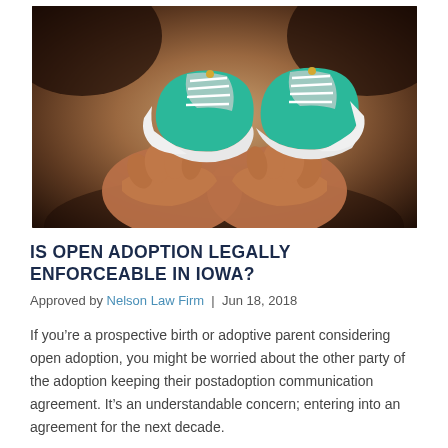[Figure (photo): Hands holding a pair of small teal/green baby sneakers with white soles and white laces, against a dark blurred background]
IS OPEN ADOPTION LEGALLY ENFORCEABLE IN IOWA?
Approved by Nelson Law Firm | Jun 18, 2018
If you're a prospective birth or adoptive parent considering open adoption, you might be worried about the other party of the adoption keeping their postadoption communication agreement. It's an understandable concern; entering into an agreement for the next decade.